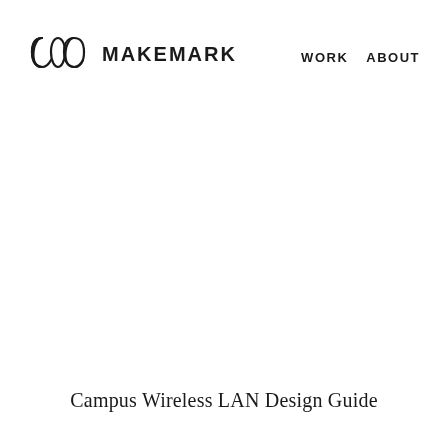[Figure (logo): Makemark logo: two overlapping circle-like shapes forming an M symbol, with the text MAKEMARK to the right and navigation links WORK ABOUT on the far right]
Campus Wireless LAN Design Guide